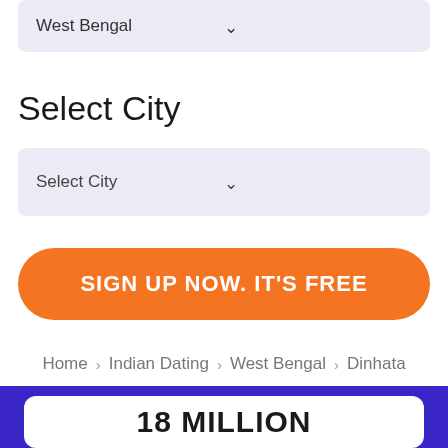West Bengal
Select City
Select City
SIGN UP NOW. IT'S FREE
Home > Indian Dating > West Bengal > Dinhata
18 MILLION